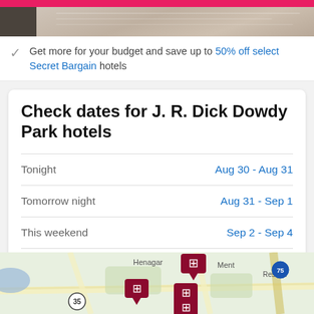[Figure (photo): Top photo of a hotel room/bed, partially visible, with a pink bar at the top and a dark strip on the left side.]
Get more for your budget and save up to 50% off select Secret Bargain hotels
Check dates for J. R. Dick Dowdy Park hotels
| Period | Dates |
| --- | --- |
| Tonight | Aug 30 - Aug 31 |
| Tomorrow night | Aug 31 - Sep 1 |
| This weekend | Sep 2 - Sep 4 |
| Next weekend | Sep 9 - Sep 11 |
[Figure (map): Map showing hotel locations near J. R. Dick Dowdy Park area, with place names Henagar, Ment, Resaca, and highway markers 35 and 75 visible. Hotel pins marked with building icons in dark red/maroon color.]